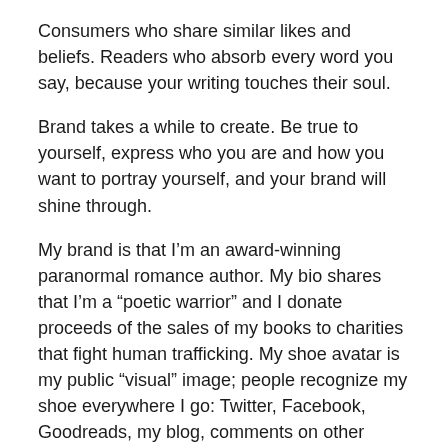Consumers who share similar likes and beliefs. Readers who absorb every word you say, because your writing touches their soul.
Brand takes a while to create. Be true to yourself, express who you are and how you want to portray yourself, and your brand will shine through.
My brand is that I’m an award-winning paranormal romance author. My bio shares that I’m a “poetic warrior” and I donate proceeds of the sales of my books to charities that fight human trafficking. My shoe avatar is my public “visual” image; people recognize my shoe everywhere I go: Twitter, Facebook, Goodreads, my blog, comments on other blogs. A blogger friend of mine shared that when she was talking about me to her husband, he said, “The Shoe Girl” in identifying me. Yep. That’s me.